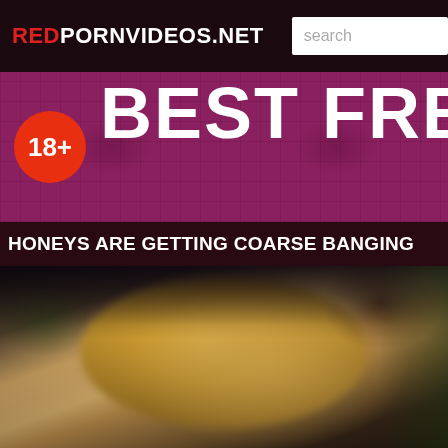REDPORNVIDEOS.NET
[Figure (screenshot): Search input box with placeholder text 'search']
[Figure (infographic): Purple damask patterned banner with orange 18+ age badge circle on left and large white bold text 'BEST FREE' on right]
HONEYS ARE GETTING COARSE BANGING
[Figure (photo): Blurry close-up video thumbnail showing blonde hair of a person in a dark party/crowd scene]